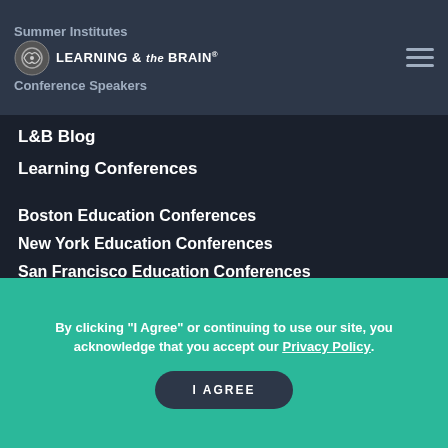Summer Institutes
[Figure (logo): Learning & the Brain logo with brain graphic]
Conference Speakers
L&B Blog
Learning Conferences
Boston Education Conferences
New York Education Conferences
San Francisco Education Conferences
More links
© 2010-2022 Educator Resources, Inc. Teacher Conferences. All rights
By clicking "I Agree" or continuing to use our site, you acknowledge that you accept our Privacy Policy.
I AGREE